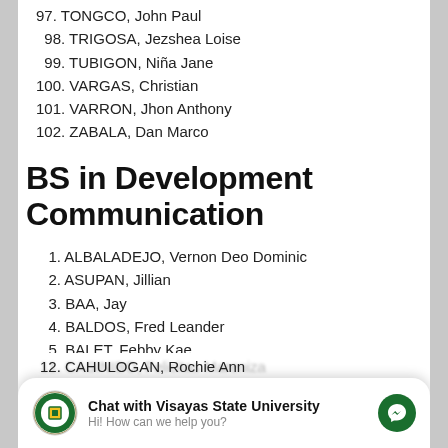97. TONGCO, John Paul
98. TRIGOSA, Jezshea Loise
99. TUBIGON, Niña Jane
100. VARGAS, Christian
101. VARRON, Jhon Anthony
102. ZABALA, Dan Marco
BS in Development Communication
1. ALBALADEJO, Vernon Deo Dominic
2. ASUPAN, Jillian
3. BAA, Jay
4. BALDOS, Fred Leander
5. BALET, Febby Kae
6. BATO, Bien Mary Candice
7. BOCO, Nica Anaiza
8. BOLOTAOLO, Annie Rose
Chat with Visayas State University — Hi! How can we help you?
11. CASINIBO, Felicitas Mareniza
12. CAHULOGAN, Rochie Ann